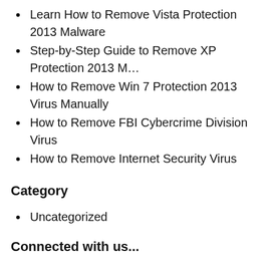Learn How to Remove Vista Protection 2013 Malware
Step-by-Step Guide to Remove XP Protection 2013 M…
How to Remove Win 7 Protection 2013 Virus Manually
How to Remove FBI Cybercrime Division Virus
How to Remove Internet Security Virus
Category
Uncategorized
Connected with us...